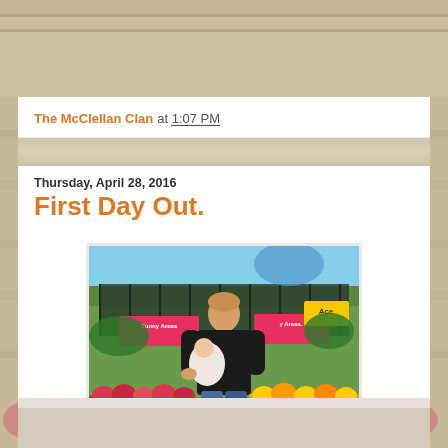The McClellan Clan at 1:07 PM
Thursday, April 28, 2016
First Day Out.
[Figure (photo): A man in a black shirt and jeans standing in a garden center, holding a newborn baby, surrounded by colorful flowers including yellow and orange marigolds, with pink signs reading 'Sunny Areas' in the background.]
Made our first outing  to get some plants and seeds for the garden.